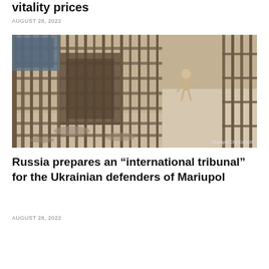vitality prices
AUGUST 28, 2022
[Figure (photo): Construction scaffolding and metal cage-like structures with a worker visible inside, outdoor setting with debris on ground. Watermark reads 'Mariupol City Council'.]
Russia prepares an “international tribunal” for the Ukrainian defenders of Mariupol
AUGUST 28, 2022